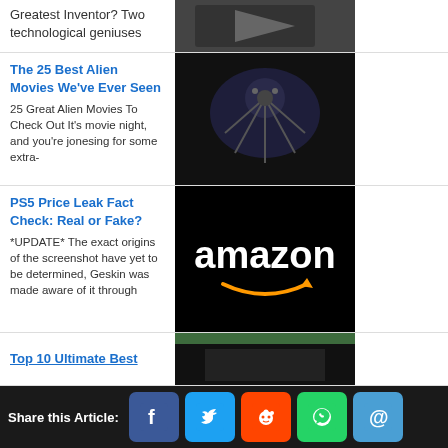Greatest Inventor? Two technological geniuses
[Figure (photo): Partial image of a figure (top row, cropped)]
The 25 Best Alien Movies We've Ever Seen
25 Great Alien Movies To Check Out It's movie night, and you're jonesing for some extra-
[Figure (photo): Dark sci-fi alien movie still with mechanical/spider creature]
PS5 Price Leak Fact Check: Real or Fake?
*UPDATE* The exact origins of the screenshot have yet to be determined, Geskin was made aware of it through
[Figure (logo): Amazon logo on black background]
Top 35 Best Chun Li Cosplays We've Ever Seen
Anyone who knows Capcom remembers playing one of their earliest games,
[Figure (photo): Woman in Chun Li cosplay costume outdoors]
Top 10 Ultimate Best
[Figure (photo): Partially visible dark image at bottom]
Share this Article: